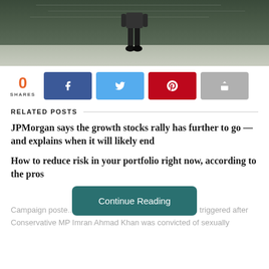[Figure (photo): Person standing in front of a chalkboard with equations, viewed from behind, wearing dark pants and shoes.]
0
SHARES
RELATED POSTS
JPMorgan says the growth stocks rally has further to go — and explains when it will likely end
How to reduce risk in your portfolio right now, according to the pros
Campaign poste... Yorkshire, ahead of a key by-election triggered after Conservative MP Imran Ahmad Khan was convicted of sexually...
Continue Reading